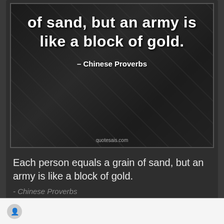[Figure (illustration): Dark background quote image with bold white text reading 'of sand, but an army is like a block of gold.' with attribution '– Chinese Proverbs' and watermark 'quotesais.com']
Each person equals a grain of sand, but an army is like a block of gold.
- Chinese Proverbs
Share   Download   Edit